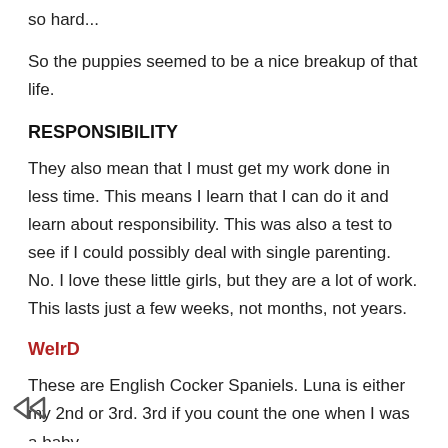so hard...
So the puppies seemed to be a nice breakup of that life.
RESPONSIBILITY
They also mean that I must get my work done in less time. This means I learn that I can do it and learn about responsibility. This was also a test to see if I could possibly deal with single parenting. No. I love these little girls, but they are a lot of work. This lasts just a few weeks, not months, not years.
WeIrD
These are English Cocker Spaniels. Luna is either my 2nd or 3rd. 3rd if you count the one when I was a baby.
When Luna was 5 I started looking for someone who bred red ECS dogs, there weren't many. I finally found a breeder, Calypso ECS in Washington (state). I really